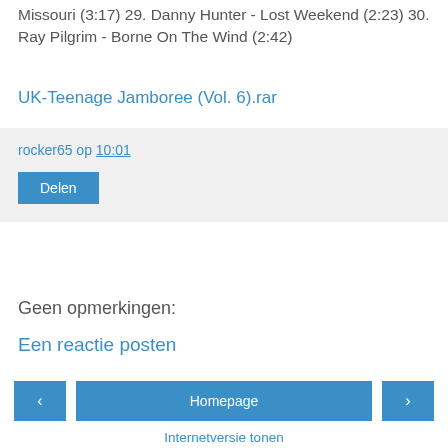Missouri (3:17) 29. Danny Hunter - Lost Weekend (2:23) 30. Ray Pilgrim - Borne On The Wind (2:42)
UK-Teenage Jamboree (Vol. 6).rar
rocker65 op 10:01
Delen
Geen opmerkingen:
Een reactie posten
‹  Homepage  ›
Internetversie tonen
Over mij
rocker65
Mijn volledige profiel tonen